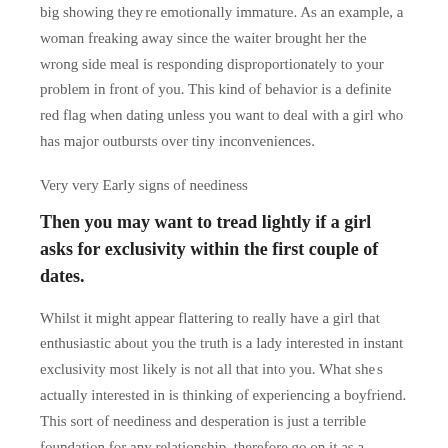big showing they're emotionally immature. As an example, a woman freaking away since the waiter brought her the wrong side meal is responding disproportionately to your problem in front of you. This kind of behavior is a definite red flag when dating unless you want to deal with a girl who has major outbursts over tiny inconveniences.
Very very Early signs of neediness
Then you may want to tread lightly if a girl asks for exclusivity within the first couple of dates.
Whilst it might appear flattering to really have a girl that enthusiastic about you the truth is a lady interested in instant exclusivity most likely is not all that into you. What she's actually interested in is thinking of experiencing a boyfriend. This sort of neediness and desperation is just a terrible foundation for any relationship, therefore go on it as a certain